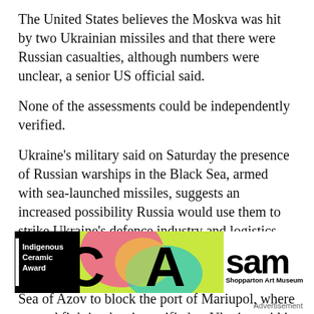The United States believes the Moskva was hit by two Ukrainian missiles and that there were Russian casualties, although numbers were unclear, a senior US official said.
None of the assessments could be independently verified.
Ukraine's military said on Saturday the presence of Russian warships in the Black Sea, armed with sea-launched missiles, suggests an increased possibility Russia would use them to strike Ukraine's defence industry and logistics infrastructure.
It said also that Russia's navy was active in the Sea of Azov to block the port of Mariupol, where ground fighting has intensified as Ukraine said it was trying to break...
[Figure (other): Advertisement banner for Shopparton Art Museum Indigenous Ceramic Award, featuring large letters C and A over a colorful abstract background, with 'sam' and 'Shopparton Art Museum' on the right.]
Advertisement